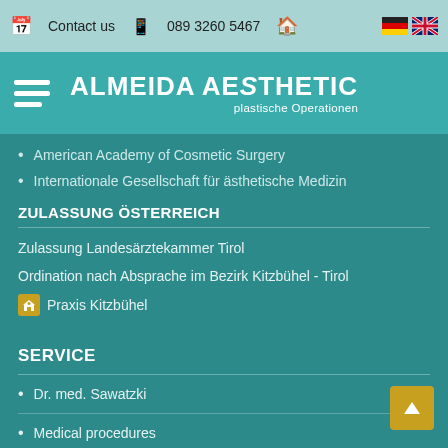Contact us   089 3260 5467
[Figure (logo): Almeida Aesthetic - plastische Operationen logo with hamburger menu icon]
American Academy of Cosmetic Surgery
Internationale Gesellschaft für ästhetische Medizin
ZULASSUNG ÖSTERREICH
Zulassung Landesärztekammer Tirol
Ordination nach Absprache im Bezirk Kitzbühel - Tirol
Praxis Kitzbühel
SERVICE
Dr. med. Sawatzki
Medical procedures